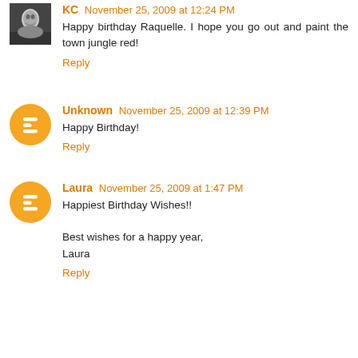KC November 25, 2009 at 12:24 PM
Happy birthday Raquelle. I hope you go out and paint the town jungle red!
Reply
Unknown November 25, 2009 at 12:39 PM
Happy Birthday!
Reply
Laura November 25, 2009 at 1:47 PM
Happiest Birthday Wishes!!

Best wishes for a happy year,
Laura
Reply